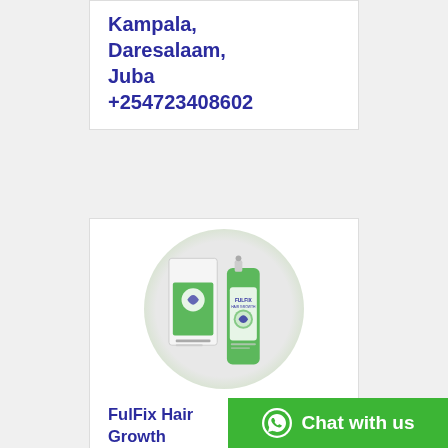Kampala, Daresalaam, Juba +254723408602
[Figure (photo): FulFix Hair Growth Spray product — a green spray bottle and green-labeled box with hair growth imagery, displayed on a circular green/grey background]
FulFix Hair Growth Spray – where to buy Fulfix® Natural Hair Therapy in Nairobi, Kampala, Daresalaam, Juba...